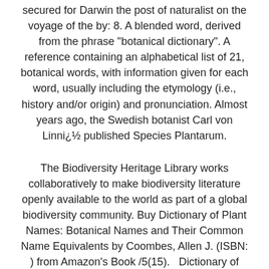secured for Darwin the post of naturalist on the voyage of the by: 8. A blended word, derived from the phrase "botanical dictionary". A reference containing an alphabetical list of 21, botanical words, with information given for each word, usually including the etymology (i.e., history and/or origin) and pronunciation. Almost years ago, the Swedish botanist Carl von Linnï¿½ published Species Plantarum.
The Biodiversity Heritage Library works collaboratively to make biodiversity literature openly available to the world as part of a global biodiversity community. Buy Dictionary of Plant Names: Botanical Names and Their Common Name Equivalents by Coombes, Allen J. (ISBN: ) from Amazon's Book /5(15).   Dictionary of botanical equivalents; French-English, German-English Dictionary of botanical equivalents; French-English, German-English by